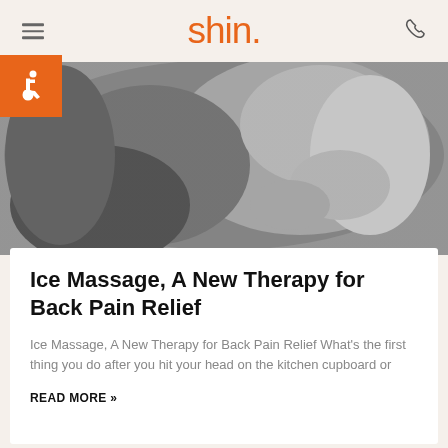shin.
[Figure (photo): Black and white close-up photograph of a person receiving a back massage, hands pressing on upper back area.]
Ice Massage, A New Therapy for Back Pain Relief
Ice Massage, A New Therapy for Back Pain Relief What's the first thing you do after you hit your head on the kitchen cupboard or
READ MORE »